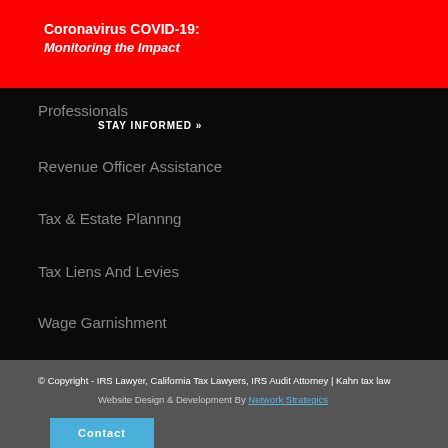Coronavirus COVID-19: Monitoring the Impact
Professionals
STAY INFORMED »
Revenue Officer Assistance
Tax & Estate Plannng
Tax Liens And Levies
Wage Garnishment
© Copyright - IRS Lawyer, California Tax Lawyers, IRS Audit Attorney | Kahn tax law
Website Design & Development By Network Strategics